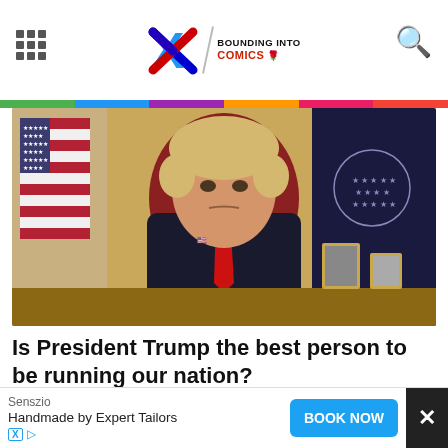X / Bounding Into Comics
[Figure (photo): Man in dark suit and red tie seated at a desk in a formal office setting, with an American flag in the background]
Is President Trump the best person to be running our nation?
Yes   No   Not sure
50,313 Votes
Senszio
Handmade by Expert Tailors
BOOK NOW